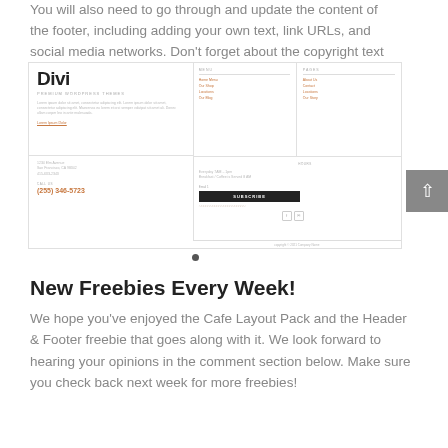You will also need to go through and update the content of the footer, including adding your own text, link URLs, and social media networks.  Don't forget about the copyright text at the bottom of the footer as well.
[Figure (screenshot): Screenshot of a Divi cafe website footer layout showing branding, navigation links (Home, Our Shop, Locations, Our Blog, About Us, Contact, Locations, Our Story), address, phone number (255) 346-5723, hours, email subscription with SUBSCRIBE button, social icons, and copyright bar. A scroll-to-top button appears on the right.]
New Freebies Every Week!
We hope you've enjoyed the Cafe Layout Pack and the Header & Footer freebie that goes along with it. We look forward to hearing your opinions in the comment section below. Make sure you check back next week for more freebies!